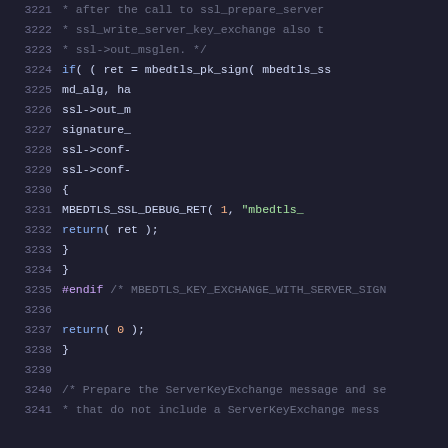Source code listing, lines 3221-3241, C/SSL code